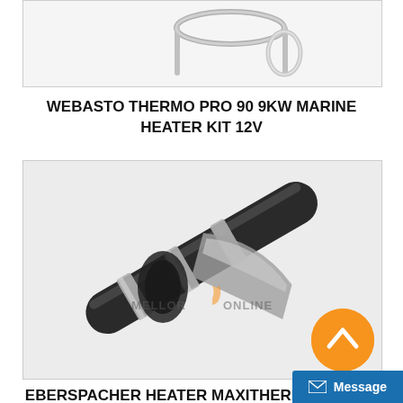[Figure (photo): Partial view of a metallic heater component (pipe/bracket) visible at top of page, cut off]
WEBASTO THERMO PRO 90 9KW MARINE HEATER KIT 12V
[Figure (photo): Eberspacher heater Maxitherm ducting hose rolled/bundled, shown in dark grey fabric and silver reflective insulation, with MELLOR ONLINE watermark overlay]
EBERSPACHER HEATER MAXITHERM DUCTING